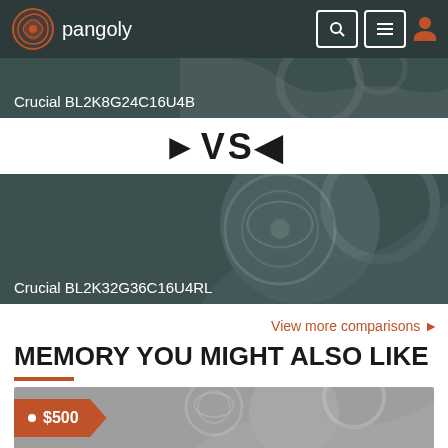pangoly
Crucial BL2K8G24C16U4B
VS
Crucial BL2K32G36C16U4RL
View more comparisons ▶
MEMORY YOU MIGHT ALSO LIKE
• $500